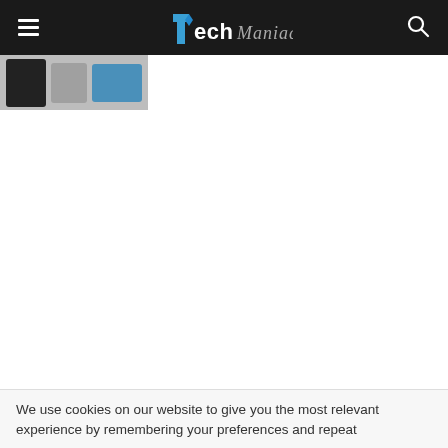TechManiacs
[Figure (screenshot): Thumbnail strip showing tech device images: a dark device, a gray device, and a blue tablet/device against a gray background]
We use cookies on our website to give you the most relevant experience by remembering your preferences and repeat